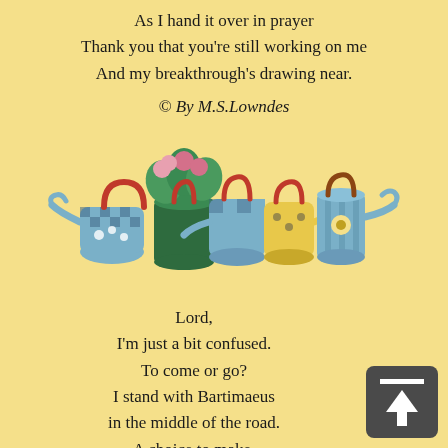As I hand it over in prayer
Thank you that you're still working on me
And my breakthrough's drawing near.
© By M.S.Lowndes
[Figure (illustration): Decorative illustration of colorful watering cans and pots with pink flowers]
Lord,
I'm just a bit confused.
To come or go?
I stand with Bartimaeus
in the middle of the road.
A choice to make,
to go with you
or stay with what I know?
The strong wind of your presence